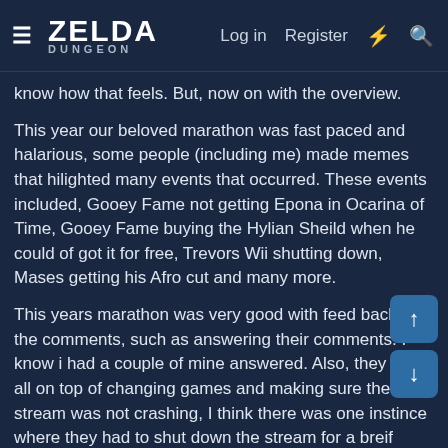≡ ZELDA DUNGEON  Log in  Register  ⚡  🔍
know how that feels. But, now on with the overview.
This year our beloved marathon was fast paced and halarious, some people (including me) made memes that hilighted many events that occurred. These events included, Gooey Fame not getting Epona in Ocarina of Time, Gooey Fame buying the Hylian Sheild when he could of got it for free, Trevors Wii shutting down, Mases getting his Afro cut and many more.
This years marathon was very good with feed back to the comments, such as answering their comments. I know i had a couple of mine answered. Also, they were all on top of changing games and making sure the stream was not crashing, I think there was one instince where they had to shut down the stream for a breif moment but other then that everything was fine.
I know all the children that benifit from this charity will be really happy and can not wait to have some entertainment in their lives. Overall they raised over $4000.00 which is a lot of money